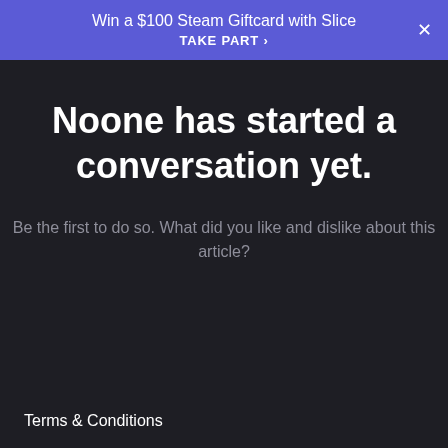Win a $100 Steam Giftcard with Slice
TAKE PART ›
Noone has started a conversation yet.
Be the first to do so. What did you like and dislike about this article?
Terms & Conditions